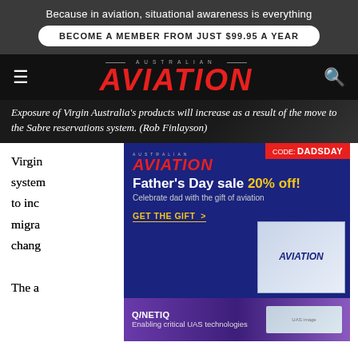Because in aviation, situational awareness is everything
BECOME A MEMBER FROM JUST $99.95 A YEAR
[Figure (logo): Australian Aviation magazine logo with hamburger menu and search icon in dark navigation bar]
Exposure of Virgin Australia's products will increase as a result of the move to the Sabre reservations system. (Rob Finlayson)
[Figure (advertisement): Australian Aviation Father's Day sale 20% off advertisement with CODE: DADSDAY badge. Blue background with yellow call-to-action 'GET THE GIFT >']
[Figure (advertisement): QinetiQ advertisement: Enabling critical UAS technologies]
Virgin [Australia's move to the Sabre reserva]tions system [will benefit travel agents] and to inc[rease distribution] e migra[tion will mean signif]icant chang[e to the booking engi]ne.
The a[irline partnership connec]tions